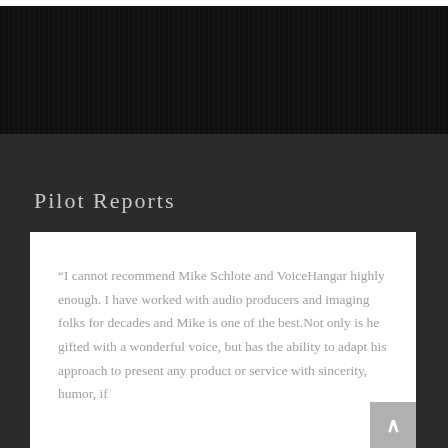[Figure (other): Dark banner with vertical stripe texture at top of page]
Pilot Reports
“I cannot recommend Mike Schlote and VoiceHangar highly enough. I have worked with audio producers and imaging folks for decades and Mike is one of the best.Not only is he gifted with a wonderful voice, but has the ability to adapt his approach to present any product or service with sincerity, humor, if